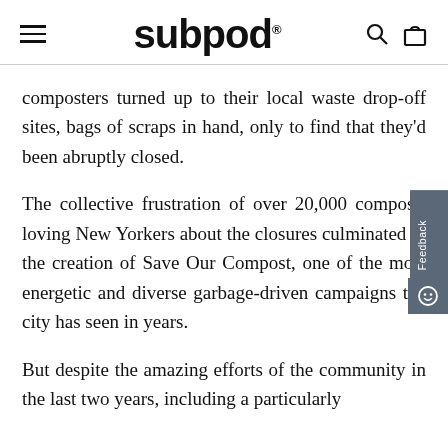subpod
composters turned up to their local waste drop-off sites, bags of scraps in hand, only to find that they'd been abruptly closed.
The collective frustration of over 20,000 compost-loving New Yorkers about the closures culminated in the creation of Save Our Compost, one of the most energetic and diverse garbage-driven campaigns the city has seen in years.
But despite the amazing efforts of the community in the last two years, including a particularly